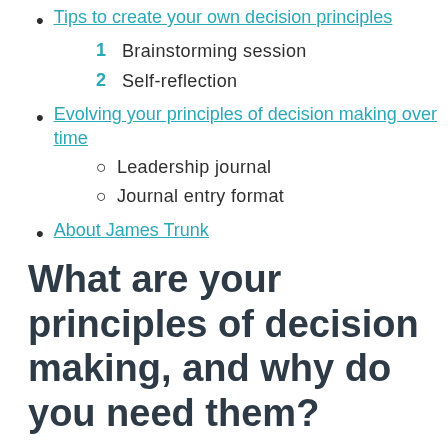Tips to create your own decision principles
1 Brainstorming session
2 Self-reflection
Evolving your principles of decision making over time
○ Leadership journal
○ Journal entry format
About James Trunk
What are your principles of decision making, and why do you need them?